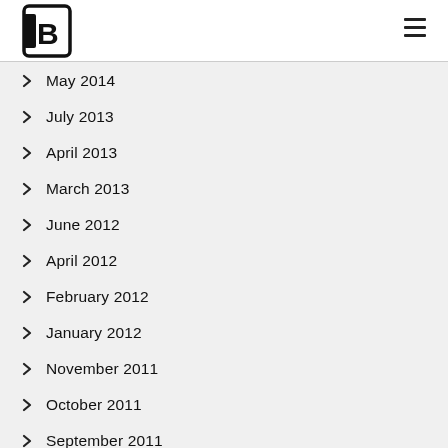May 2014
July 2013
April 2013
March 2013
June 2012
April 2012
February 2012
January 2012
November 2011
October 2011
September 2011